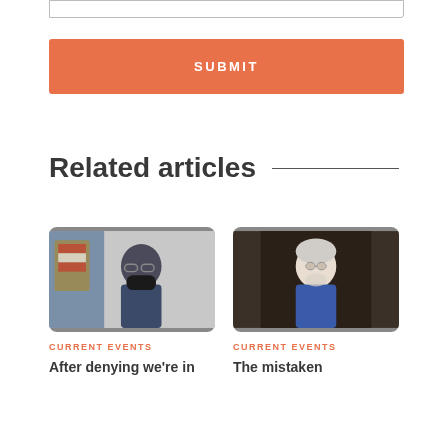[Figure (screenshot): Textarea input box (partial, top of page)]
[Figure (screenshot): Orange SUBMIT button]
Related articles
[Figure (photo): Photo of older man in suit wearing a black face mask, adjusting glasses, with US flag in background]
CURRENT EVENTS
After denying we're in
[Figure (photo): Photo of elderly man with white hair and beard wearing a blue shirt, standing in a dark doorway]
CURRENT EVENTS
The mistaken